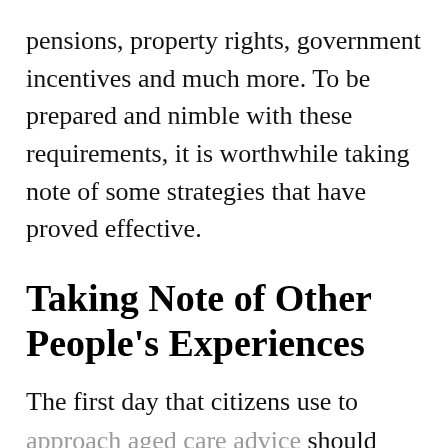pensions, property rights, government incentives and much more. To be prepared and nimble with these requirements, it is worthwhile taking note of some strategies that have proved effective.
Taking Note of Other People's Experiences
The first day that citizens use to approach aged care advice should involve discussions with other family members about their own experiences. These firsthand accounts allow for clients to determine which advisors and